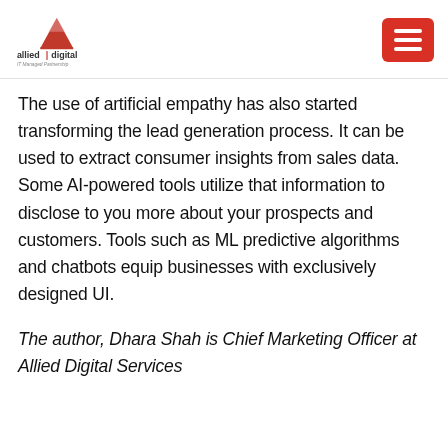allied digital | IT Managed Partnership
The use of artificial empathy has also started transforming the lead generation process. It can be used to extract consumer insights from sales data. Some AI-powered tools utilize that information to disclose to you more about your prospects and customers. Tools such as ML predictive algorithms and chatbots equip businesses with exclusively designed UI.
The author, Dhara Shah is Chief Marketing Officer at Allied Digital Services